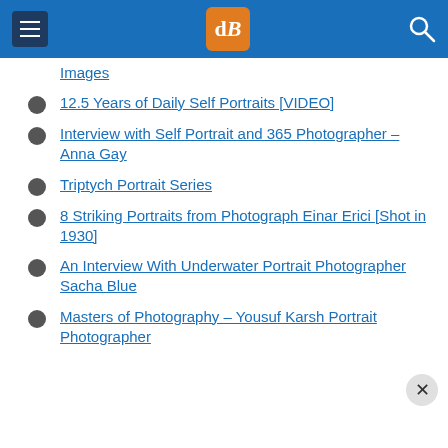dPS navigation header
Images
12.5 Years of Daily Self Portraits [VIDEO]
Interview with Self Portrait and 365 Photographer – Anna Gay
Triptych Portrait Series
8 Striking Portraits from Photograph Einar Erici [Shot in 1930]
An Interview With Underwater Portrait Photographer Sacha Blue
Masters of Photography – Yousuf Karsh Portrait Photographer